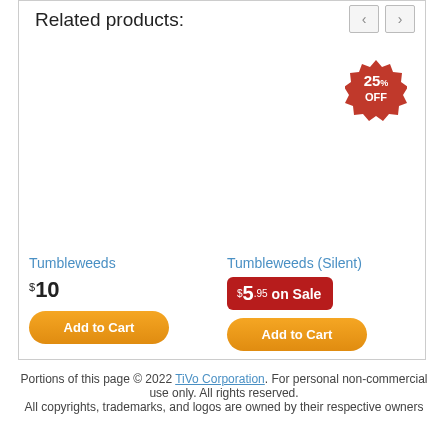Related products:
[Figure (other): Product listing: Tumbleweeds, price $10, Add to Cart button]
[Figure (other): Product listing: Tumbleweeds (Silent), 25% OFF badge, price $5.95 on Sale, Add to Cart button]
Portions of this page © 2022 TiVo Corporation. For personal non-commercial use only. All rights reserved.
All copyrights, trademarks, and logos are owned by their respective owners